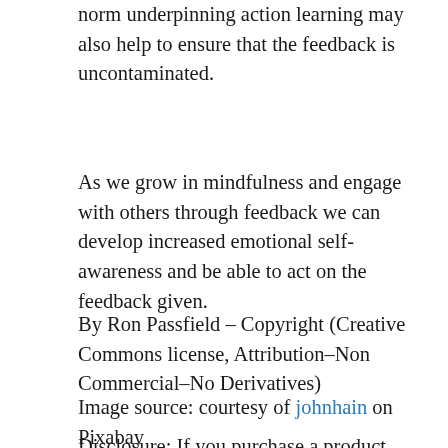norm underpinning action learning may also help to ensure that the feedback is uncontaminated.
As we grow in mindfulness and engage with others through feedback we can develop increased emotional self-awareness and be able to act on the feedback given.
By Ron Passfield – Copyright (Creative Commons license, Attribution–Non Commercial–No Derivatives)
Image source: courtesy of johnhain on Pixabay
Disclosure: If you purchase a product through